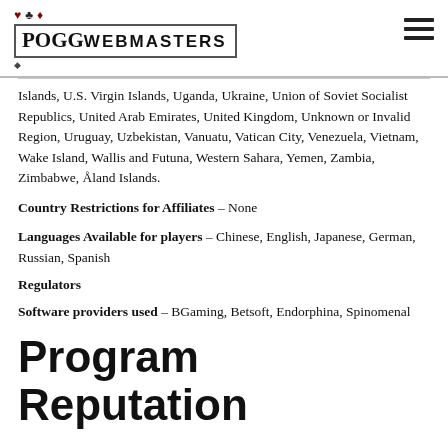POGG WEBMASTERS
Islands, U.S. Virgin Islands, Uganda, Ukraine, Union of Soviet Socialist Republics, United Arab Emirates, United Kingdom, Unknown or Invalid Region, Uruguay, Uzbekistan, Vanuatu, Vatican City, Venezuela, Vietnam, Wake Island, Wallis and Futuna, Western Sahara, Yemen, Zambia, Zimbabwe, Åland Islands.
Country Restrictions for Affiliates – None
Languages Available for players – Chinese, English, Japanese, German, Russian, Spanish
Regulators
Software providers used – BGaming, Betsoft, Endorphina, Spinomenal
Program Reputation